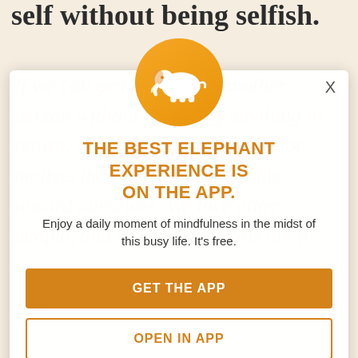self without being selfish.
If we can genuinely love another person without expecting anything in return, without having any ulterior motive, then we can also do this toward ourselves. We love other people, and we as individuals are p... friend to oursel... an circus master... or a demeaning... rates the player.
[Figure (logo): Elephant app logo: white elephant silhouette on orange/gold circular background]
THE BEST ELEPHANT EXPERIENCE IS ON THE APP.
Enjoy a daily moment of mindfulness in the midst of this busy life. It's free.
GET THE APP
OPEN IN APP